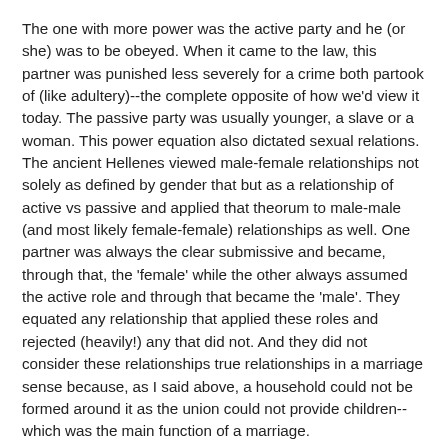The one with more power was the active party and he (or she) was to be obeyed. When it came to the law, this partner was punished less severely for a crime both partook of (like adultery)--the complete opposite of how we'd view it today. The passive party was usually younger, a slave or a woman. This power equation also dictated sexual relations. The ancient Hellenes viewed male-female relationships not solely as defined by gender that but as a relationship of active vs passive and applied that theorum to male-male (and most likely female-female) relationships as well. One partner was always the clear submissive and became, through that, the 'female' while the other always assumed the active role and through that became the 'male'. They equated any relationship that applied these roles and rejected (heavily!) any that did not. And they did not consider these relationships true relationships in a marriage sense because, as I said above, a household could not be formed around it as the union could not provide children--which was the main function of a marriage.
So if that was the case, what's with all the artwork of men